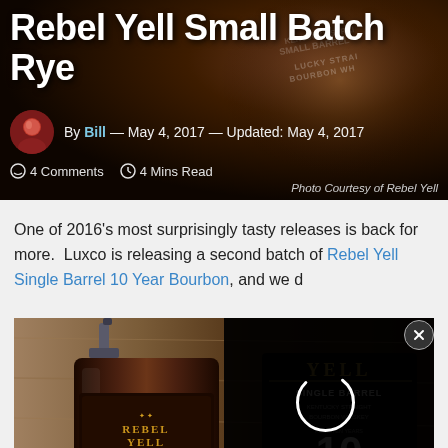[Figure (photo): Hero image background showing Rebel Yell whiskey bottle label with dark warm tones]
Rebel Yell Small Batch Rye
By Bill — May 4, 2017 — Updated: May 4, 2017
4 Comments  4 Mins Read
Photo Courtesy of Rebel Yell
One of 2016's most surprisingly tasty releases is back for more.  Luxco is releasing a second batch of Rebel Yell Single Barrel 10 Year Bourbon, and we d
[Figure (photo): Rebel Yell Single Barrel 10 Year Bourbon bottle product photo against wooden background, with dark overlay containing loading spinner on right side]